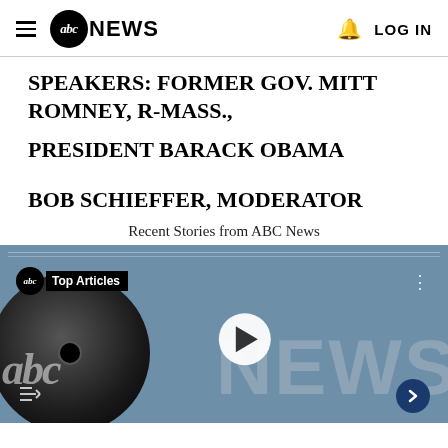abc NEWS | LOG IN
SPEAKERS: FORMER GOV. MITT ROMNEY, R-MASS.,
PRESIDENT BARACK OBAMA
BOB SCHIEFFER, MODERATOR
Recent Stories from ABC News
[Figure (screenshot): ABC News video player showing Top Articles playlist with abc NEWS logo and play button overlay]